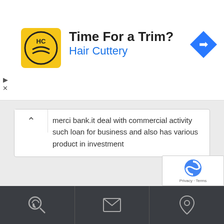[Figure (infographic): Hair Cuttery advertisement banner with logo, title 'Time For a Trim?' and navigation arrow icon]
merci bank.it deal with commercial activity such loan for business and also has various product in investment
Niaz Ahmed
3 Google Rating
Extra ordinary Rush place
2 years ago
3/5